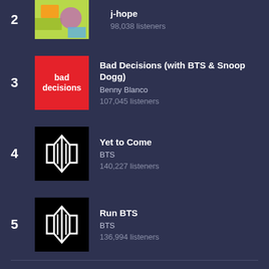2 | j-hope | 98,038 listeners
3 | Bad Decisions (with BTS & Snoop Dogg) | Benny Blanco | 107,045 listeners
4 | Yet to Come | BTS | 140,227 listeners
5 | Run BTS | BTS | 136,994 listeners
View all trending tracks
Features